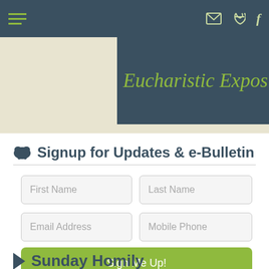Navigation bar with hamburger menu and icons
Eucharistic Exposition
Signup for Updates & e-Bulletin
First Name
Last Name
Email Address
Mobile Phone
Sign Me Up!
Sunday Homily